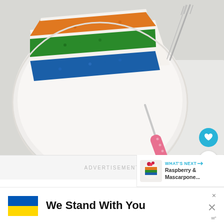[Figure (photo): Top-down view of a slice of rainbow layered cake on a white plate with a silver fork and pink-handled cake fork/knife, on a white marble surface with white fabric]
ADVERTISEMENT
WHAT'S NEXT → Raspberry & Mascarpone...
We Stand With You